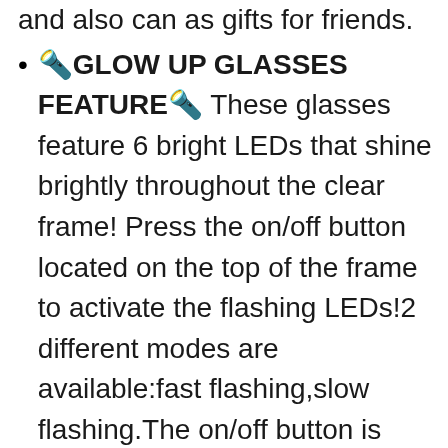and also can as gifts for friends.
🔦GLOW UP GLASSES FEATURE🔦 These glasses feature 6 bright LEDs that shine brightly throughout the clear frame! Press the on/off button located on the top of the frame to activate the flashing LEDs!2 different modes are available:fast flashing,slow flashing.The on/off button is also used to change the mode.
🔦HIGH-QUALITY PLASTIC MATERIALS🔦 The shutter shades are made of environmentally friendly sturdy high-quality PC plastic that without fear of being easily damaged after falling. Safe, non-toxic, and